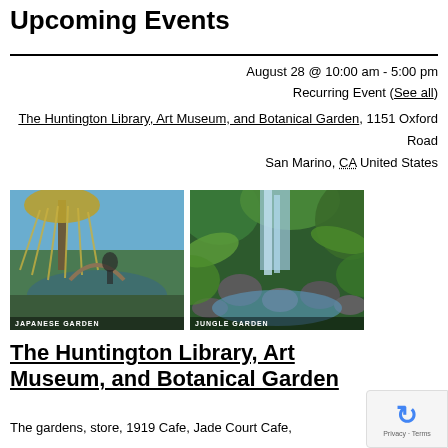Upcoming Events
August 28 @ 10:00 am - 5:00 pm
Recurring Event (See all)
The Huntington Library, Art Museum, and Botanical Garden, 1151 Oxford Road San Marino, CA United States
[Figure (photo): Two side-by-side photos: left shows Japanese Garden with a weeping willow tree and pond; right shows Jungle Garden with a waterfall and lush green plants over rocks. Labels: JAPANESE GARDEN and JUNGLE GARDEN.]
The Huntington Library, Art Museum, and Botanical Garden
The gardens, store, 1919 Cafe, Jade Court Cafe,